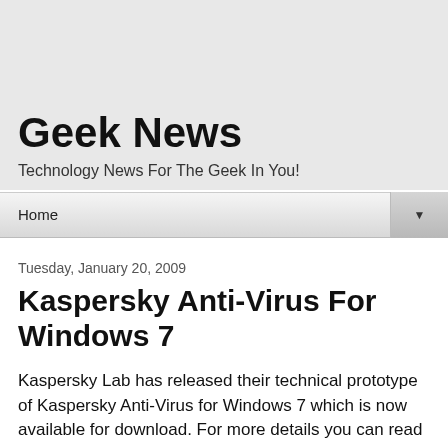Geek News
Technology News For The Geek In You!
Home ▼
Tuesday, January 20, 2009
Kaspersky Anti-Virus For Windows 7
Kaspersky Lab has released their technical prototype of Kaspersky Anti-Virus for Windows 7 which is now available for download. For more details you can read the full press release below, to get the new software prototype which includes not only an antivirus component but an effective and fully functional firewall and anti-spam filter visit the